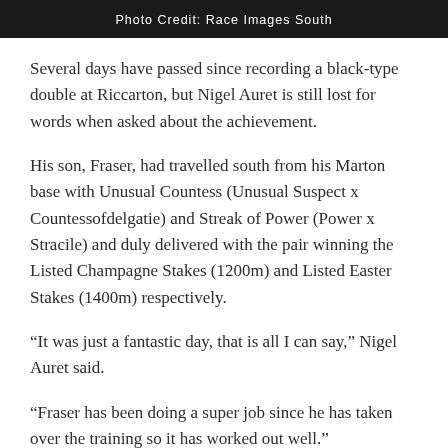Photo Credit: Race Images South
Several days have passed since recording a black-type double at Riccarton, but Nigel Auret is still lost for words when asked about the achievement.
His son, Fraser, had travelled south from his Marton base with Unusual Countess (Unusual Suspect x Countessofdelgatie) and Streak of Power (Power x Stracile) and duly delivered with the pair winning the Listed Champagne Stakes (1200m) and Listed Easter Stakes (1400m) respectively.
“It was just a fantastic day, that is all I can say,” Nigel Auret said.
“Fraser has been doing a super job since he has taken over the training so it has worked out well.”